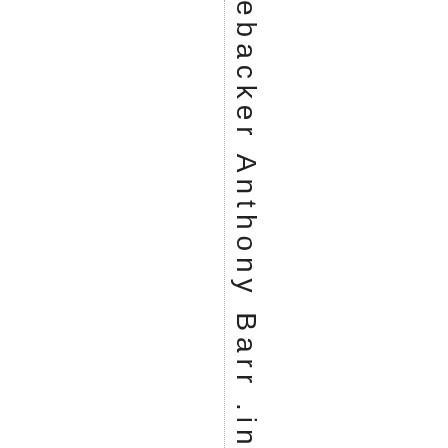ebacker Anthony Barr .in the t